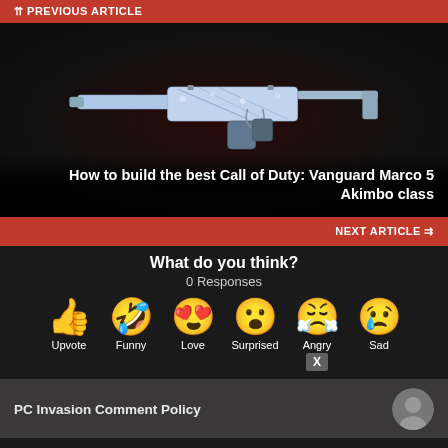⇈ PREVIOUS ARTICLE
[Figure (photo): A Call of Duty: Vanguard Marco 5 submachine gun with a blue/white decorative skin displayed on a dark background]
How to build the best Call of Duty: Vanguard Marco 5 Akimbo class
NEXT ARTICLE ⇉
What do you think?
0 Responses
[Figure (infographic): Six emoji reaction buttons: Upvote (thumbs up), Funny (laughing face with tongue), Love (heart eyes), Surprised (open mouth), Angry (steaming face), Sad (crying face). An X badge overlays the Angry emoji.]
PC Invasion Comment Policy